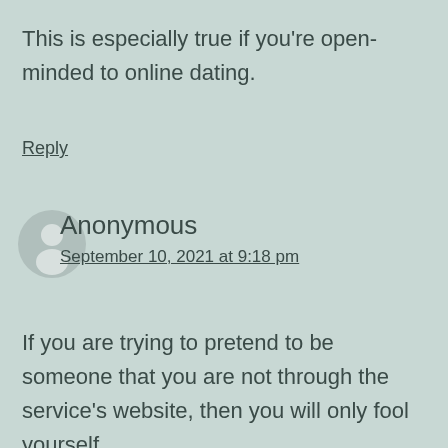This is especially true if you're open-minded to online dating.
Reply
Anonymous
September 10, 2021 at 9:18 pm
If you are trying to pretend to be someone that you are not through the service's website, then you will only fool yourself.